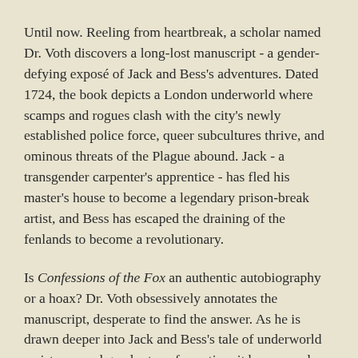Until now. Reeling from heartbreak, a scholar named Dr. Voth discovers a long-lost manuscript - a gender-defying exposé of Jack and Bess's adventures. Dated 1724, the book depicts a London underworld where scamps and rogues clash with the city's newly established police force, queer subcultures thrive, and ominous threats of the Plague abound. Jack - a transgender carpenter's apprentice - has fled his master's house to become a legendary prison-break artist, and Bess has escaped the draining of the fenlands to become a revolutionary.
Is Confessions of the Fox an authentic autobiography or a hoax? Dr. Voth obsessively annotates the manuscript, desperate to find the answer. As he is drawn deeper into Jack and Bess's tale of underworld resistance and gender transformation, it becomes clear that their fates are intertwined - and only a miracle will save them all.
Confessions of the Fox is, at once, a work of speculative historical fiction, a soaring love story, a puzzling mystery...